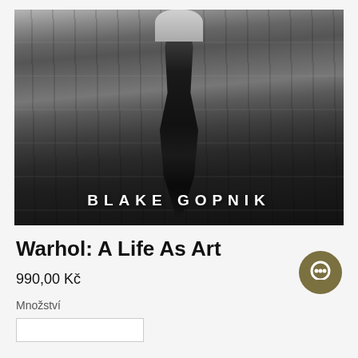[Figure (photo): Black and white overhead photo of a person (Andy Warhol) lying or seated on a wooden floor, wearing dark clothing and shoes. The text 'BLAKE GOPNIK' appears at the bottom of the image in large white spaced letters.]
Warhol: A Life As Art
990,00 Kč
Množství